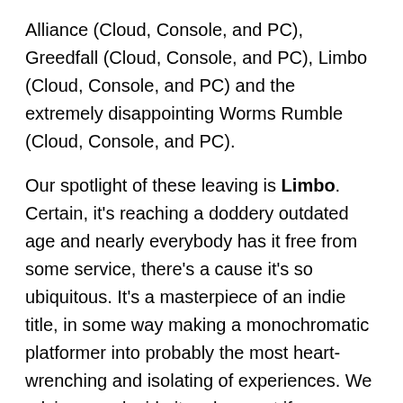Alliance (Cloud, Console, and PC), Greedfall (Cloud, Console, and PC), Limbo (Cloud, Console, and PC) and the extremely disappointing Worms Rumble (Cloud, Console, and PC).
Our spotlight of these leaving is Limbo. Certain, it's reaching a doddery outdated age and nearly everybody has it free from some service, there's a cause it's so ubiquitous. It's a masterpiece of an indie title, in some way making a monochromatic platformer into probably the most heart-wrenching and isolating of experiences. We advise you decide it up low cost if you happen to've by no means been emotionally hung, drawn and quartered by it up to now.
There's additionally a good quantity of RPG goodness going out of the door. Final 12 months's re-release of Dungeons & Dragons: Darkish Alliance is taking go away, and we had some moderately heat emotions about it in our 3.5/5